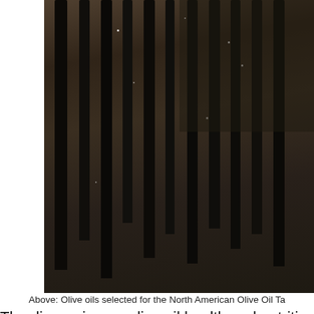[Figure (photo): Overhead or angled view of many dark olive oil bottles on a wet reflective surface with sparkles/water droplets visible. Bottles appear to be lined up in rows.]
Above: Olive oils selected for the North American Olive Oil Ta
The discussion on olive oil health and nutrition was
This website stores cookies on your computer. These cookies are used to collect information about how you interact with our website and allow us to remember you. We use this information in order to improve and customize your browsing experience and for analytics and metrics about our visitors both on this website and other media. To find out more about the cookies we use, see our Privacy Policy.